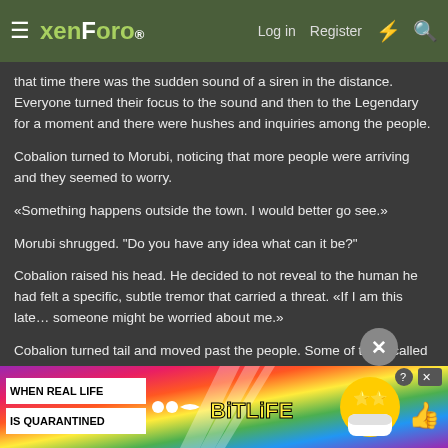xenForo | Log in | Register
that time there was the sudden sound of a siren in the distance. Everyone turned their focus to the sound and then to the Legendary for a moment and there were hushes and inquiries among the people.
Cobalion turned to Morubi, noticing that more people were arriving and they seemed to worry.
«Something happens outside the town. I would better go see.»
Morubi shrugged. “Do you have any idea what can it be?”
Cobalion raised his head. He decided to not reveal to the human he had felt a specific, subtle tremor that carried a threat. «If I am this late… someone might be worried about me.»
Cobalion turned tail and moved past the people. Some of them called fo... ...y that had hap... ...they
[Figure (screenshot): BitLife advertisement banner: rainbow background with 'WHEN REAL LIFE IS QUARANTINED' text, BitLife logo, cartoon character with star eyes and face mask]